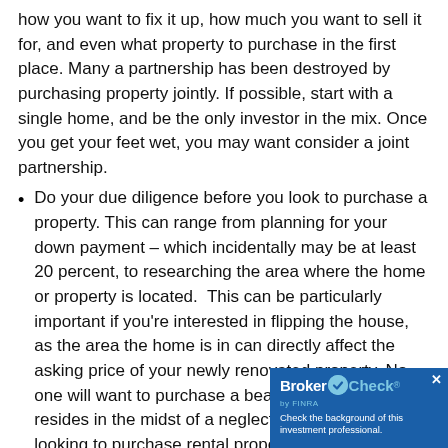how you want to fix it up, how much you want to sell it for, and even what property to purchase in the first place. Many a partnership has been destroyed by purchasing property jointly. If possible, start with a single home, and be the only investor in the mix. Once you get your feet wet, you may want consider a joint partnership.
Do your due diligence before you look to purchase a property. This can range from planning for your down payment – which incidentally may be at least 20 percent, to researching the area where the home or property is located. This can be particularly important if you're interested in flipping the house, as the area the home is in can directly affect the asking price of your newly renovated property. No one will want to purchase a beautiful home that resides in the midst of a neglected area. If you're looking to purchase rental property, be sure the area can support the rent amount that you will be aski
Consider how handy you are and if you're will time repairing, replacing, and maintaining the
[Figure (other): BrokerCheck by FINRA overlay advertisement. Blue background with BrokerCheck logo and text: Check the background of this investment professional.]